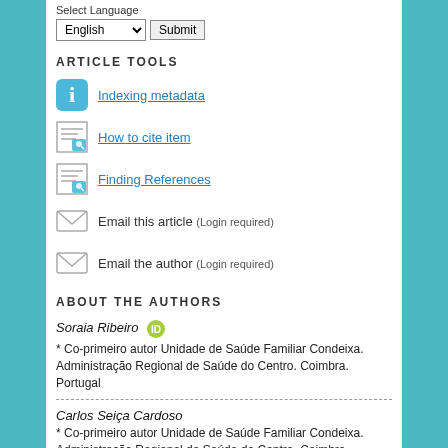Select Language
English  Submit
ARTICLE TOOLS
Indexing metadata
How to cite item
Finding References
Email this article (Login required)
Email the author (Login required)
ABOUT THE AUTHORS
Soraia Ribeiro
* Co-primeiro autor Unidade de Saúde Familiar Condeixa. Administração Regional de Saúde do Centro. Coimbra. Portugal
Carlos Seiça Cardoso
* Co-primeiro autor Unidade de Saúde Familiar Condeixa. Administração Regional de Saúde do Centro. Coimbra. Portugal
Margarida Valério
Pulmonology Department. Centro Hospitalar e Universitário de Coimbra